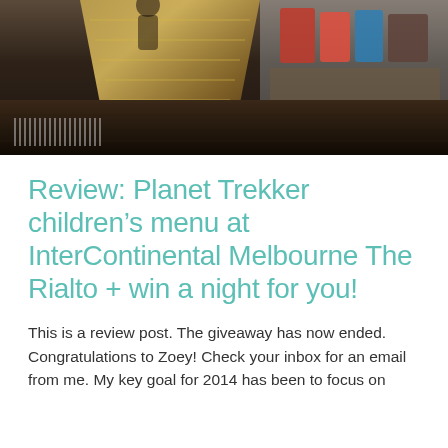[Figure (photo): Interior photo of a shopping mall or department store showing escalators, wooden flooring, and shopping bags in the background. Scene includes gold/brass escalator elements and colorful shopping bags on the right side.]
Review: Planet Trekker children’s menu at InterContinental Melbourne The Rialto + win a night for you!
This is a review post. The giveaway has now ended. Congratulations to Zoey! Check your inbox for an email from me. My key goal for 2014 has been to focus on